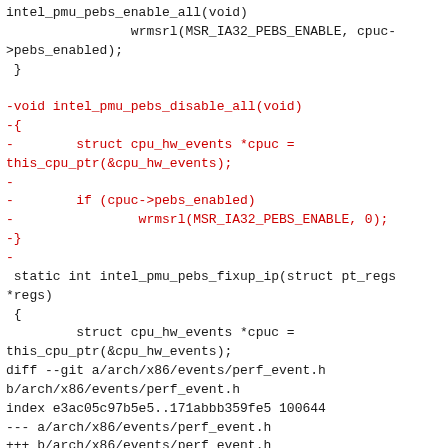Code diff showing intel_pmu_pebs_enable_all, intel_pmu_pebs_disable_all, intel_pmu_pebs_fixup_ip functions and git diff header for arch/x86/events/perf_event.h